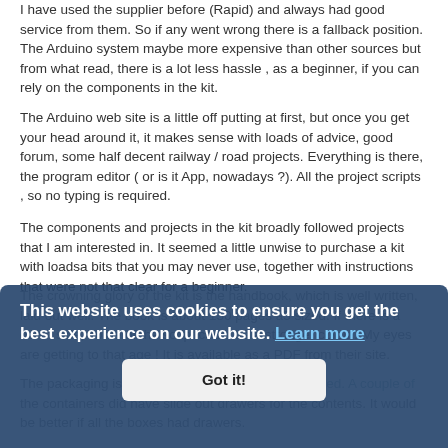I have used the supplier before (Rapid) and always had good service from them. So if any went wrong there is a fallback position. The Arduino system maybe more expensive than other sources but from what read, there is a lot less hassle , as a beginner, if you can rely on the components in the kit.
The Arduino web site is a little off putting at first, but once you get your head around it, it makes sense with loads of advice, good forum, some half decent railway / road projects. Everything is there, the program editor ( or is it App, nowadays ?). All the project scripts , so no typing is required.
The components and projects in the kit broadly followed projects that I am interested in. It seemed a little unwise to purchase a kit with loadsa bits that you may never use, together with instructions that were not that clear for a beginner.
The crowning glory of the kit is the handbook, which is well written, laid out well. The book is about 150 pages a5 sized. If there is a down side, some of the script could be a stronger colour. My eyes are getting to that age ! It is available as a PDF from their site.
This website uses cookies to ensure you get the best experience on our website. Learn more
Got it!
The packaging is sophisticated but could be improved. A couple of the containers did have slide out drawers for the contents. It would be better if all the boxes had drawers.